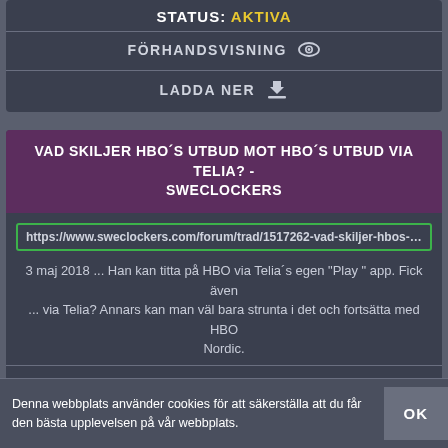STATUS: AKTIVA
FÖRHANDSVISNING
LADDA NER
VAD SKILJER HBO´S UTBUD MOT HBO´S UTBUD VIA TELIA? - SWECLOCKERS
https://www.sweclockers.com/forum/trad/1517262-vad-skiljer-hbos-utb
3 maj 2018 ... Han kan titta på HBO via Telia´s egen "Play " app. Fick även ... via Telia? Annars kan man väl bara strunta i det och fortsätta med HBO Nordic.
STATUS: AKTIVA
FÖRHANDSVISNING
Denna webbplats använder cookies för att säkerställa att du får den bästa upplevelsen på vår webbplats.